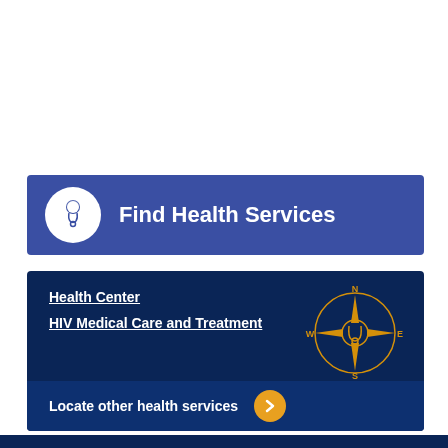Find Health Services
Health Center
HIV Medical Care and Treatment
[Figure (illustration): Compass rose with medical stethoscope center, gold/yellow color, with N/S/E/W labels, on dark blue background]
Locate other health services